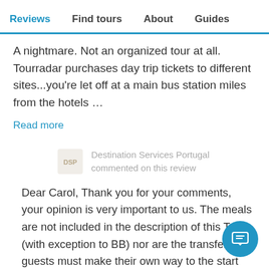Reviews | Find tours | About | Guides
A nightmare. Not an organized tour at all. Tourradar purchases day trip tickets to different sites...you're let off at a main bus station miles from the hotels …
Read more
Destination Services Portugal commented on this review
Dear Carol, Thank you for your comments, your opinion is very important to us. The meals are not included in the description of this Tour (with exception to BB) nor are the transfers, the guests must make their own way to the start and end of the Tour. - Meals - we have added them to booking as a courtesy. - Transfers - we have added them to your booking also as a courtesy. The pre and post hotel was